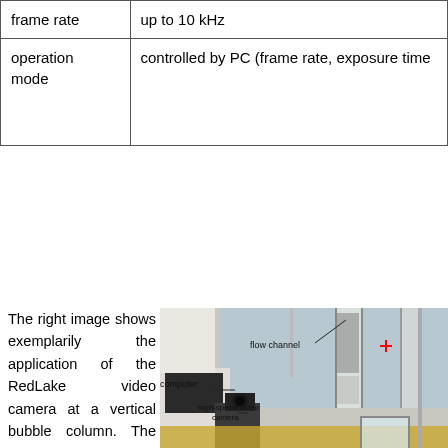|  |  |
| --- | --- |
| frame rate | up to 10 kHz |
| operation mode | controlled by PC (frame rate, exposure time…) |
The right image shows exemplarily the application of the RedLake video camera at a vertical bubble column. The illumination of the scene is realized by a white screen behind the
[Figure (photo): Laboratory setup photograph showing a flow channel (vertical transparent column with particles), a high-speed video camera, and a computer. Labels point to: flow channel, computer, high-speed video camera.]